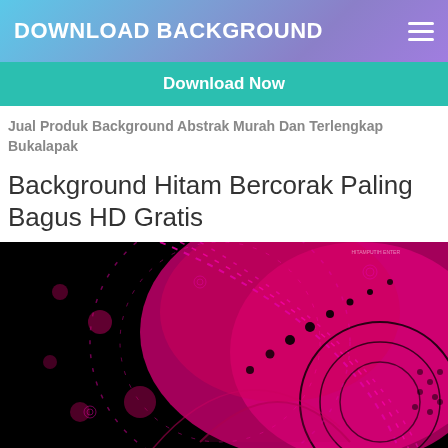DOWNLOAD BACKGROUND
Download Now
Jual Produk Background Abstrak Murah Dan Terlengkap Bukalapak
Background Hitam Bercorak Paling Bagus HD Gratis
[Figure (photo): Black and magenta/pink abstract digital background with circular patterns, dots, and geometric designs on a dark black base]